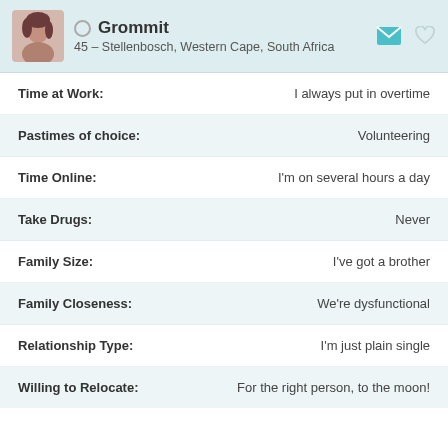Grommit – 45 – Stellenbosch, Western Cape, South Africa
Time at Work: I always put in overtime
Pastimes of choice: Volunteering
Time Online: I'm on several hours a day
Take Drugs: Never
Family Size: I've got a brother
Family Closeness: We're dysfunctional
Relationship Type: I'm just plain single
Willing to Relocate: For the right person, to the moon!